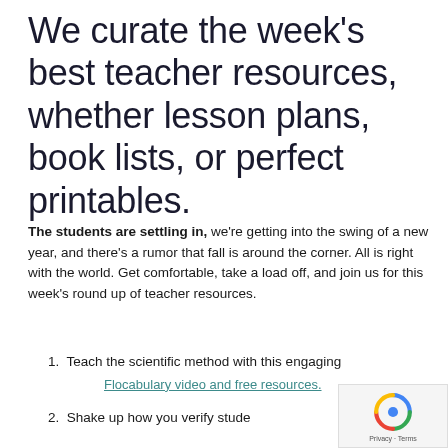We curate the week's best teacher resources, whether lesson plans, book lists, or perfect printables.
The students are settling in, we're getting into the swing of a new year, and there's a rumor that fall is around the corner. All is right with the world. Get comfortable, take a load off, and join us for this week's round up of teacher resources.
1. Teach the scientific method with this engaging Flocabulary video and free resources.
2. Shake up how you verify stude...